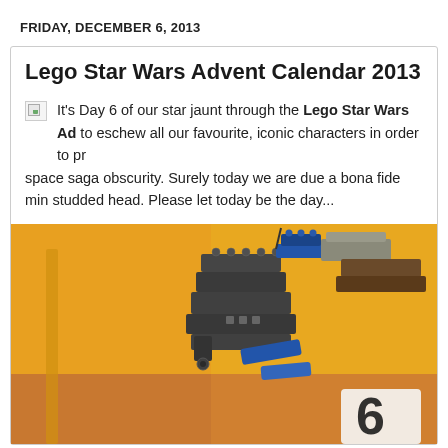FRIDAY, DECEMBER 6, 2013
Lego Star Wars Advent Calendar 2013 Day 6: Re...
It's Day 6 of our star jaunt through the Lego Star Wars Advent Calendar. [The set seems] to eschew all our favourite, iconic characters in order to probe the very limits of space saga obscurity. Surely today we are due a bona fide minifig with a proper studded head. Please let today be the day...
[Figure (photo): Close-up photo of a LEGO Star Wars set with dark grey and blue bricks on a yellow/orange background, showing what appears to be a small LEGO vehicle or spacecraft build]